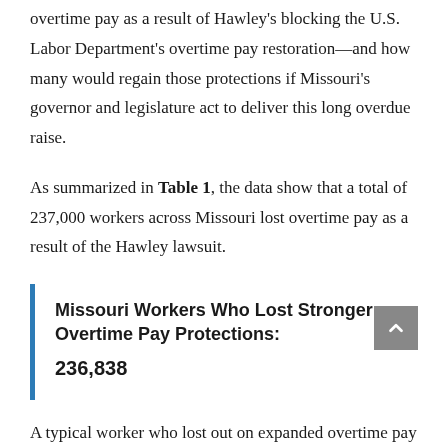overtime pay as a result of Hawley's blocking the U.S. Labor Department's overtime pay restoration—and how many would regain those protections if Missouri's governor and legislature act to deliver this long overdue raise.
As summarized in Table 1, the data show that a total of 237,000 workers across Missouri lost overtime pay as a result of the Hawley lawsuit.
Missouri Workers Who Lost Stronger Overtime Pay Protections: 236,838
A typical worker who lost out on expanded overtime pay was an assistant manager at a big-box retail store...